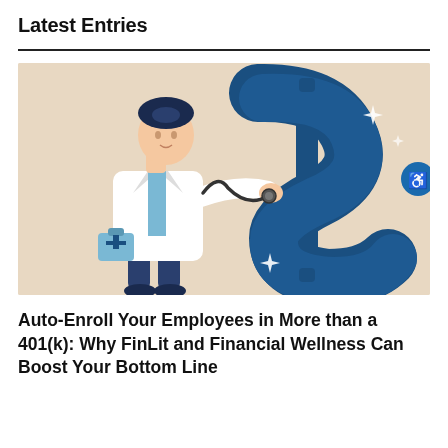Latest Entries
[Figure (illustration): A doctor in white coat using a stethoscope to examine a large blue dollar sign symbol. The doctor holds a medical bag and the illustration is on a beige/tan background. A blue circular accessibility button is visible on the right edge.]
Auto-Enroll Your Employees in More than a 401(k): Why FinLit and Financial Wellness Can Boost Your Bottom Line